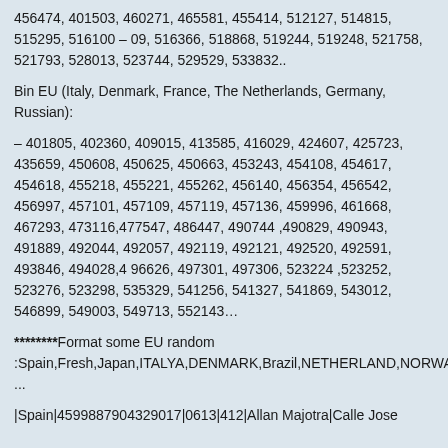456474, 401503, 460271, 465581, 455414, 512127, 514815, 515295, 516100 – 09, 516366, 518868, 519244, 519248, 521758, 521793, 528013, 523744, 529529, 533832..
Bin EU (Italy, Denmark, France, The Netherlands, Germany, Russian):
– 401805, 402360, 409015, 413585, 416029, 424607, 425723, 435659, 450608, 450625, 450663, 453243, 454108, 454617, 454618, 455218, 455221, 455262, 456140, 456354, 456542, 456997, 457101, 457109, 457119, 457136, 459996, 461668, 467293, 473116,477547, 486447, 490744 ,490829, 490943, 491889, 492044, 492057, 492119, 492121, 492520, 492591, 493846, 494028,4 96626, 497301, 497306, 523224 ,523252, 523276, 523298, 535329, 541256, 541327, 541869, 543012, 546899, 549003, 549713, 552143…
********Format some EU random :Spain,Fresh,Japan,ITALYA,DENMARK,Brazil,NETHERLAND,NORWAY...
|Spain|4599887904329017|0613|412|Allan Majotra|Calle Jose